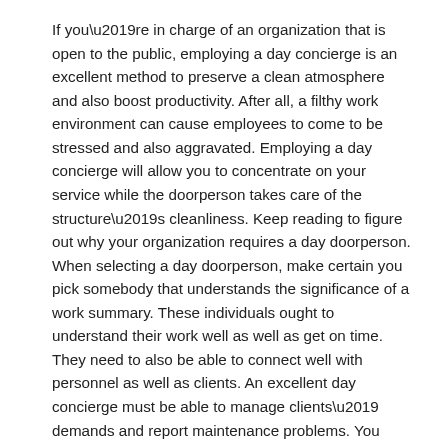If you’re in charge of an organization that is open to the public, employing a day concierge is an excellent method to preserve a clean atmosphere and also boost productivity. After all, a filthy work environment can cause employees to come to be stressed and also aggravated. Employing a day concierge will allow you to concentrate on your service while the doorperson takes care of the structure’s cleanliness. Keep reading to figure out why your organization requires a day doorperson. When selecting a day doorperson, make certain you pick somebody that understands the significance of a work summary. These individuals ought to understand their work well as well as get on time. They need to also be able to connect well with personnel as well as clients. An excellent day concierge must be able to manage clients’ demands and report maintenance problems. You ought to have the ability to easily identify the right person for the task based upon their personality as well as skills. If you’re not exactly sure whether a day doorperson is ideal for your business, checked out reviews of a number of